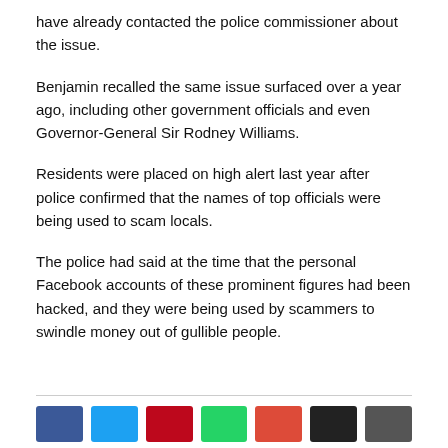have already contacted the police commissioner about the issue.
Benjamin recalled the same issue surfaced over a year ago, including other government officials and even Governor-General Sir Rodney Williams.
Residents were placed on high alert last year after police confirmed that the names of top officials were being used to scam locals.
The police had said at the time that the personal Facebook accounts of these prominent figures had been hacked, and they were being used by scammers to swindle money out of gullible people.